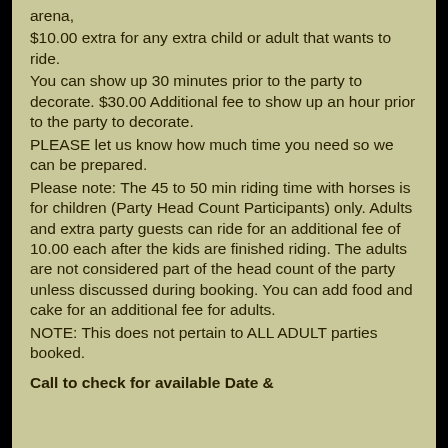arena, $10.00 extra for any extra child or adult that wants to ride. You can show up 30 minutes prior to the party to decorate.  $30.00 Additional fee to show up an hour prior to the party to decorate. PLEASE let us know how much time you need so we can be prepared. Please note:  The 45 to 50 min riding time with horses is for children (Party Head Count Participants) only.  Adults and extra party guests can ride for an additional fee of 10.00 each after the kids are finished riding.  The adults are not considered part of the head count of the party unless discussed during booking.   You can add food and cake for an additional fee for adults. NOTE:  This does not pertain to ALL ADULT parties booked.
Call to check for available Date &